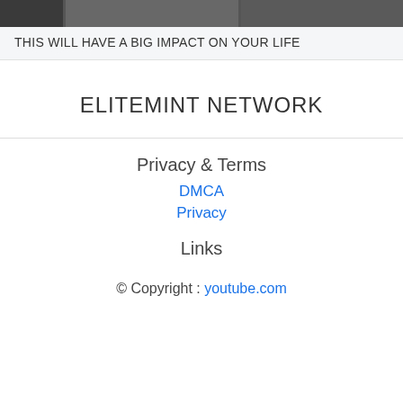[Figure (photo): Grayscale image strip showing partial photo of people or scene, dark tones]
THIS WILL HAVE A BIG IMPACT ON YOUR LIFE
ELITEMINT NETWORK
Privacy & Terms
DMCA
Privacy
Links
© Copyright : youtube.com